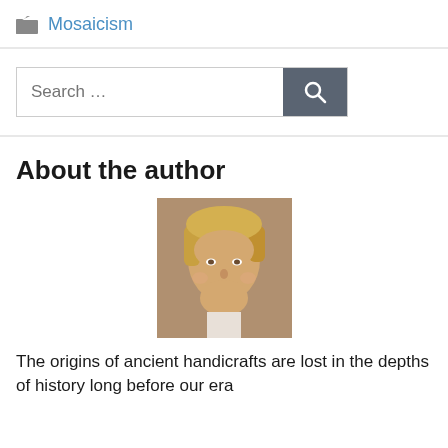Mosaicism
[Figure (other): Search bar with text input field and dark grey search button with magnifying glass icon]
About the author
[Figure (photo): Headshot photo of a young woman with short blonde hair, smiling, against a neutral background]
The origins of ancient handicrafts are lost in the depths of history long before our era